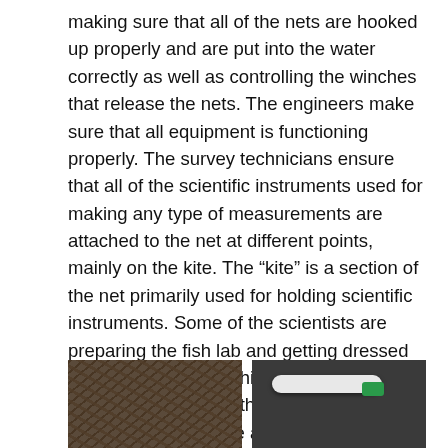making sure that all of the nets are hooked up properly and are put into the water correctly as well as controlling the winches that release the nets. The engineers make sure that all equipment is functioning properly.  The survey technicians ensure that all of the scientific instruments used for making any type of measurements are attached to the net at different points, mainly on the kite.  The “kite” is a section of the net primarily used for holding scientific instruments. Some of the scientists are preparing the fish lab and getting dressed in waterproof gear, while the Chief Scientist is on the Bridge with the officers giving direction about where and when to start and stop trawling and exactly how deep the nets should be set. Adjustments to the net are regularly made during the sample collection.
[Figure (photo): Two side-by-side photographs of equipment. Left photo shows tangled ropes, cables, and netting in dim lighting. Right photo shows white PVC pipes and cables, with a green-taped fitting visible.]